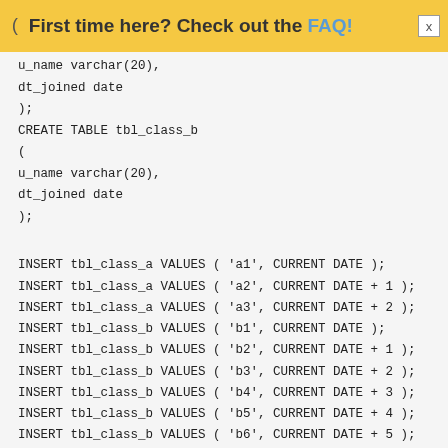( First time here? Check out the FAQ! [x]
u_name varchar(20),
dt_joined date
);
CREATE TABLE tbl_class_b
(
u_name varchar(20),
dt_joined date
);
INSERT tbl_class_a VALUES ( 'a1', CURRENT DATE );
INSERT tbl_class_a VALUES ( 'a2', CURRENT DATE + 1 );
INSERT tbl_class_a VALUES ( 'a3', CURRENT DATE + 2 );
INSERT tbl_class_b VALUES ( 'b1', CURRENT DATE );
INSERT tbl_class_b VALUES ( 'b2', CURRENT DATE + 1 );
INSERT tbl_class_b VALUES ( 'b3', CURRENT DATE + 2 );
INSERT tbl_class_b VALUES ( 'b4', CURRENT DATE + 3 );
INSERT tbl_class_b VALUES ( 'b5', CURRENT DATE + 4 );
INSERT tbl_class_b VALUES ( 'b6', CURRENT DATE + 5 );
COMMIT;
SELECT TOP 5 *